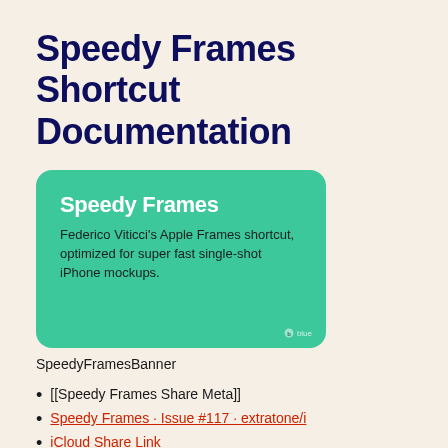Speedy Frames Shortcut Documentation
[Figure (illustration): A teal/green rounded card showing 'Speedy Frames' in bold white text with description 'Federico Viticci's Apple Frames shortcut, optimized for super fast single-shot iPhone mockups.' and a small logo in the bottom right corner.]
SpeedyFramesBanner
[[Speedy Frames Share Meta]]
Speedy Frames · Issue #117 · extratone/i
iCloud Share Link
RoutineHub Page